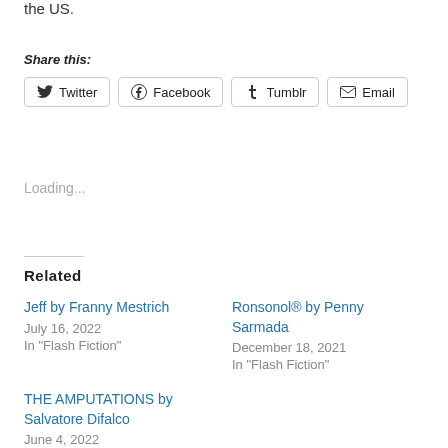the US.
Share this:
Twitter Facebook Tumblr Email
Loading...
Related
Jeff by Franny Mestrich
July 16, 2022
In "Flash Fiction"
Ronsonol® by Penny Sarmada
December 18, 2021
In "Flash Fiction"
THE AMPUTATIONS by Salvatore Difalco
June 4, 2022
In "Flash Fiction"